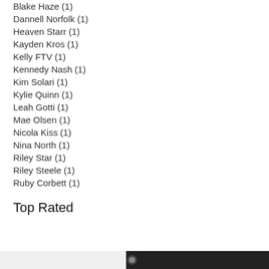Blake Haze (1)
Dannell Norfolk (1)
Heaven Starr (1)
Kayden Kros (1)
Kelly FTV (1)
Kennedy Nash (1)
Kim Solari (1)
Kylie Quinn (1)
Leah Gotti (1)
Mae Olsen (1)
Nicola Kiss (1)
Nina North (1)
Riley Star (1)
Riley Steele (1)
Ruby Corbett (1)
Top Rated
[Figure (screenshot): Bottom dark bar with a small thumbnail or video element partially visible at bottom right]